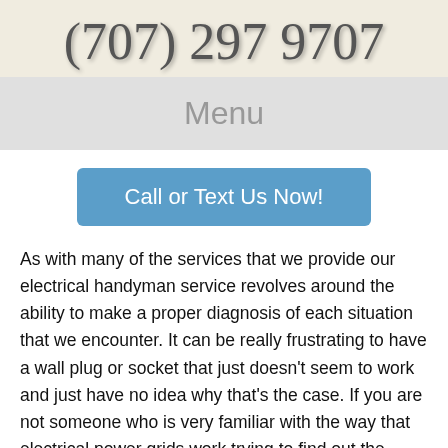(707) 297 9707
Menu
Call or Text Us Now!
As with many of the services that we provide our electrical handyman service revolves around the ability to make a proper diagnosis of each situation that we encounter. It can be really frustrating to have a wall plug or socket that just doesn't seem to work and just have no idea why that's the case. If you are not someone who is very familiar with the way that electrical power grids work trying to find out the answer to your problems can even be dangerous. Your best bet may be to call your local